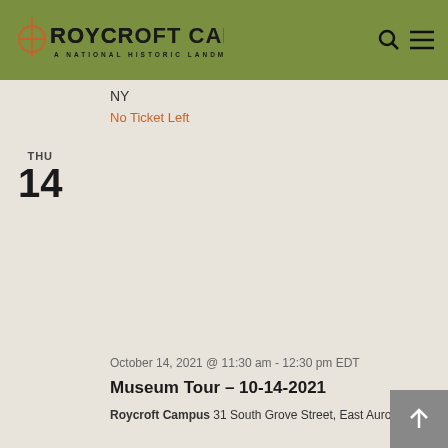[Figure (logo): Roycroft Campus - A National Historic Landmark logo with decorative art nouveau lettering on olive green header bar]
NY
No Ticket Left
THU
14
October 14, 2021 @ 11:30 am - 12:30 pm EDT
Museum Tour – 10-14-2021
Roycroft Campus 31 South Grove Street, East Aurora